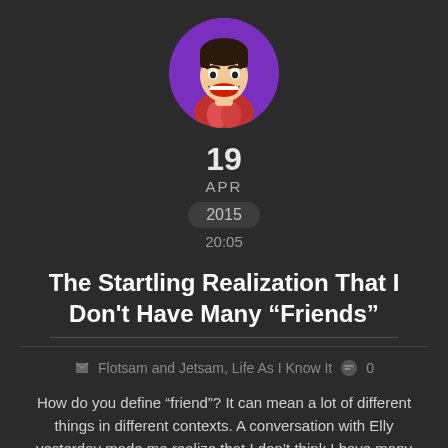[Figure (photo): Circular avatar photo of a smiling man with a purple/violet background]
19
APR
2015
20:05
The Startling Realization That I Don't Have Many “Friends”
Flotsam and Jetsam, Life As I Know It   0
How do you define “friend”? It can mean a lot of different things in different contexts. A conversation with Elly yesterday made me realize that I don’t think I have many friends at all. I have a lot of acquaintances, people I love and care about and who love